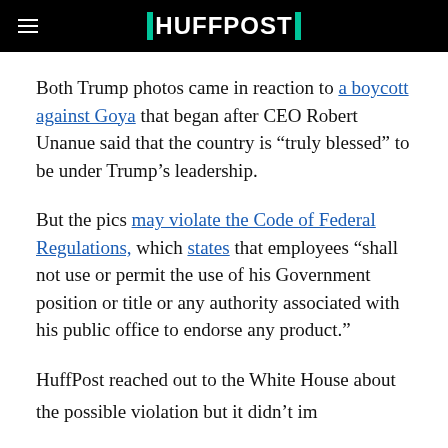HUFFPOST
Both Trump photos came in reaction to a boycott against Goya that began after CEO Robert Unanue said that the country is “truly blessed” to be under Trump’s leadership.
But the pics may violate the Code of Federal Regulations, which states that employees “shall not use or permit the use of his Government position or title or any authority associated with his public office to endorse any product.”
HuffPost reached out to the White House about the possible violation but it didn’t immediately...